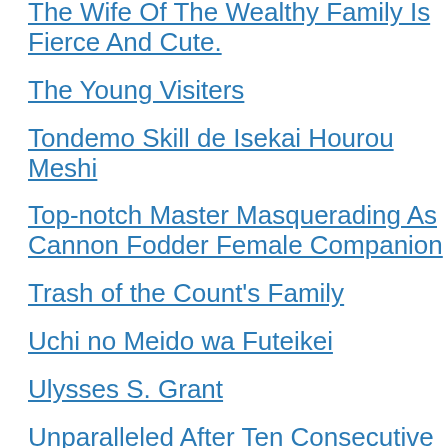The Wife Of The Wealthy Family Is Fierce And Cute.
The Young Visiters
Tondemo Skill de Isekai Hourou Meshi
Top-notch Master Masquerading As Cannon Fodder Female Companion
Trash of the Count's Family
Uchi no Meido wa Futeikei
Ulysses S. Grant
Unparalleled After Ten Consecutive Draws
Versatile Mage
War Sovereign Soaring The Heavens
Warrior's Promise